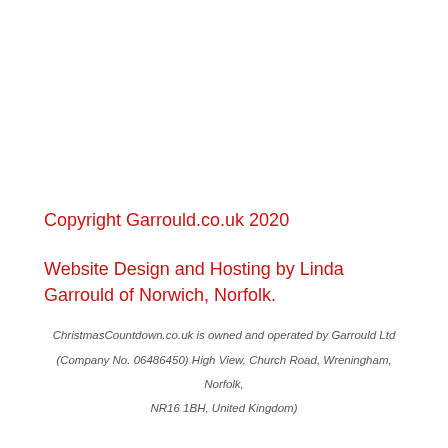Copyright Garrould.co.uk 2020
Website Design and Hosting by Linda Garrould of Norwich, Norfolk.
ChristmasCountdown.co.uk is owned and operated by Garrould Ltd (Company No. 06486450) High View, Church Road, Wreningham, Norfolk, NR16 1BH, United Kingdom)